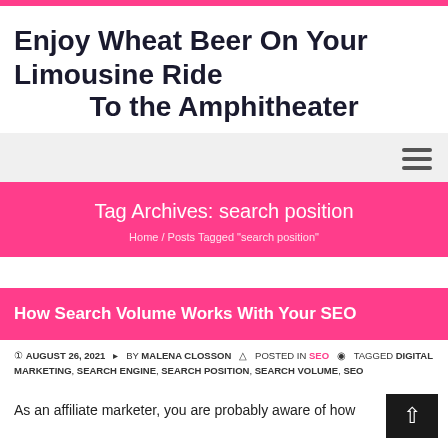Enjoy Wheat Beer On Your Limousine Ride To the Amphitheater
Tag Archives: search position
Home / Posts Tagged "search position"
How Search Volume Works With Your SEO
AUGUST 26, 2021   BY MALENA CLOSSON   POSTED IN SEO   TAGGED DIGITAL MARKETING, SEARCH ENGINE, SEARCH POSITION, SEARCH VOLUME, SEO
As an affiliate marketer, you are probably aware of how